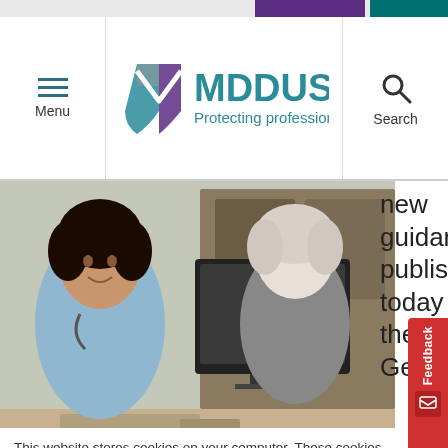[Figure (logo): MDDUS logo with shield icon and tagline 'Protecting professionals']
[Figure (photo): Doctor smiling at patient across a desk with computer monitor]
new guidance published today by the Gener
This website stores cookies on your computer. These cookies are used to collect information about how you interact with our website and allow us to remember you. We use this information in order to improve and customize your browsing experience and for analytics and metrics about our visitors both on this website and other media. To find out more about the cookies we use, see our Privacy Notice. For more information on cookies and how to manage, delete and disable them please visit https://www.allaboutcookies.org/
Accept